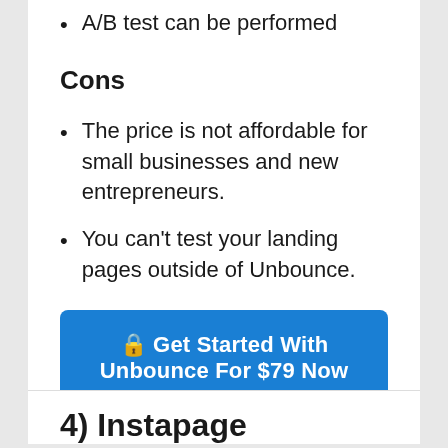A/B test can be performed
Cons
The price is not affordable for small businesses and new entrepreneurs.
You can't test your landing pages outside of Unbounce.
🔒 Get Started With Unbounce For $79 Now
4) Instapage